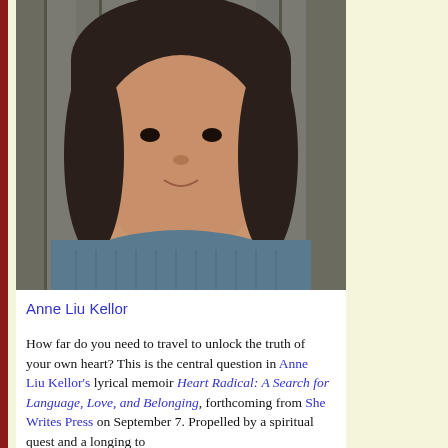[Figure (photo): Portrait photograph of Anne Liu Kellor, a woman with dark hair and bangs, wearing a blue turtleneck sweater, photographed against a wooden background.]
Anne Liu Kellor
How far do you need to travel to unlock the truth of your own heart? This is the central question in Anne Liu Kellor's lyrical memoir Heart Radical: A Search for Language, Love, and Belonging, forthcoming from She Writes Press on September 7. Propelled by a spiritual quest and a longing to